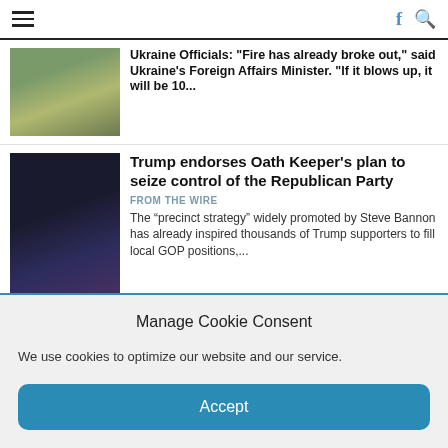Navigation header with hamburger menu, Facebook icon, and search icon
Ukraine Officials: "Fire has already broke out," said Ukraine's Foreign Affairs Minister. "If it blows up, it will be 10..."
Trump endorses Oath Keeper’s plan to seize control of the Republican Party
FROM THE WIRE
The “precinct strategy” widely promoted by Steve Bannon has already inspired thousands of Trump supporters to fill local GOP positions,...
Nuclear disaster in Ukraine could make swaths of Europe ‘uninhabitable for decades’
Manage Cookie Consent
We use cookies to optimize our website and our service.
Accept